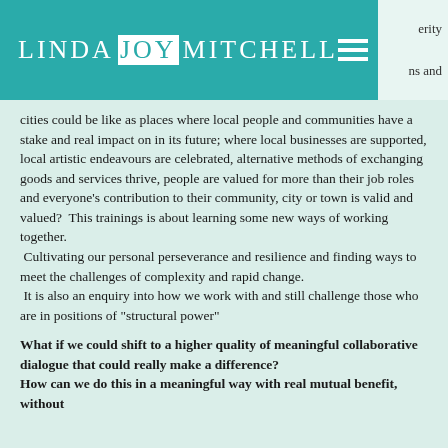LINDA JOY MITCHELL
ns and cities could be like as places where local people and communities have a stake and real impact on in its future; where local businesses are supported, local artistic endeavours are celebrated, alternative methods of exchanging goods and services thrive, people are valued for more than their job roles and everyone’s contribution to their community, city or town is valid and valued?  This trainings is about learning some new ways of working together.
 Cultivating our personal perseverance and resilience and finding ways to meet the challenges of complexity and rapid change.
 It is also an enquiry into how we work with and still challenge those who are in positions of "structural power"
What if we could shift to a higher quality of meaningful collaborative dialogue that could really make a difference?
How can we do this in a meaningful way with real mutual benefit, without